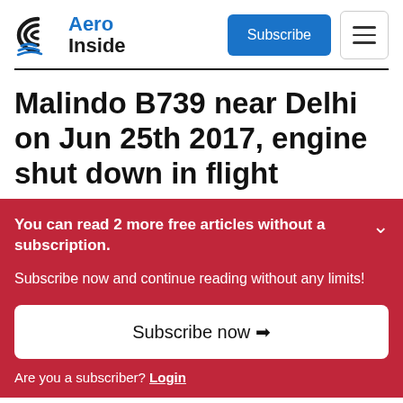[Figure (logo): Aero Inside logo with stylized swirl icon in dark blue and blue text reading 'Aero Inside']
Malindo B739 near Delhi on Jun 25th 2017, engine shut down in flight
You can read 2 more free articles without a subscription.
Subscribe now and continue reading without any limits!
Are you a subscriber? Login